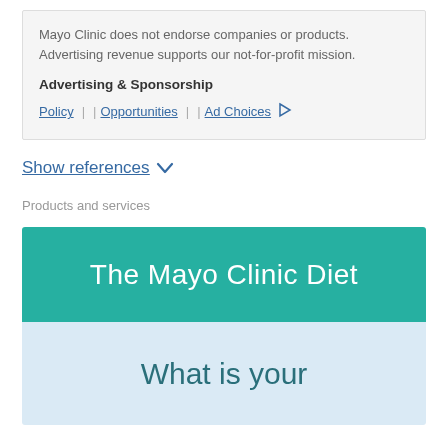Mayo Clinic does not endorse companies or products. Advertising revenue supports our not-for-profit mission.
Advertising & Sponsorship
Policy | Opportunities | Ad Choices
Show references
Products and services
[Figure (illustration): Mayo Clinic Diet promotional banner with teal header reading 'The Mayo Clinic Diet' and light blue lower section with text 'What is your']